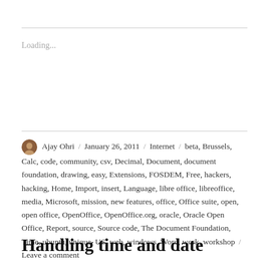Loading...
Ajay Ohri / January 26, 2011 / Internet / beta, Brussels, Calc, code, community, csv, Decimal, Document, document foundation, drawing, easy, Extensions, FOSDEM, Free, hackers, hacking, Home, Import, insert, Language, libre office, libreoffice, media, Microsoft, mission, new features, office, Office suite, open, open office, OpenOffice, OpenOffice.org, oracle, Oracle Open Office, Report, source, Source code, The Document Foundation, Time, ubuntu, unique, US, web, windows, Word, work, workshop / Leave a comment
Handling time and date